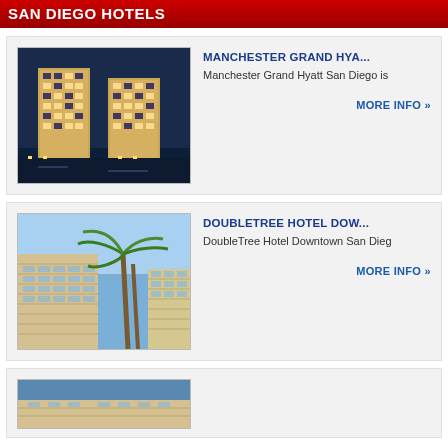SAN DIEGO HOTELS
[Figure (photo): Manchester Grand Hyatt hotel towers at night with city lights and water in background]
MANCHESTER GRAND HYA...
Manchester Grand Hyatt San Diego is
MORE INFO »
[Figure (photo): DoubleTree Hotel Downtown San Diego building with palm trees against blue sky]
DOUBLETREE HOTEL DOW...
DoubleTree Hotel Downtown San Dieg
MORE INFO »
[Figure (photo): Third hotel partial image at bottom of page]